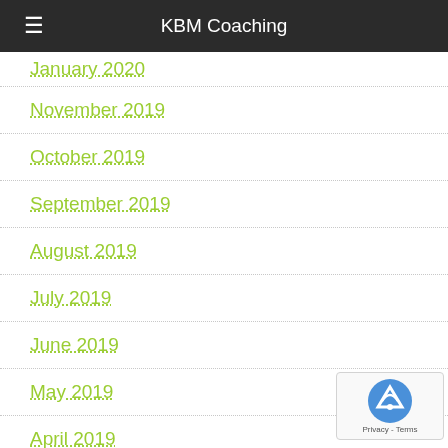KBM Coaching
January 2020
November 2019
October 2019
September 2019
August 2019
July 2019
June 2019
May 2019
April 2019
March 2019
February 2019
January 2019
November 2018